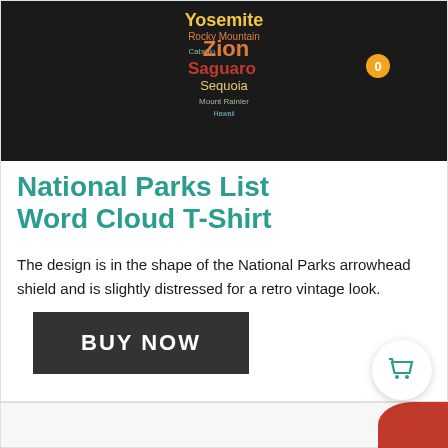[Figure (photo): T-shirt with National Parks word cloud design in shape of arrowhead shield on dark background. Words include Yosemite, Rocky Mountain, Zion, Saguaro, Sequoia, Cabrillo, and others in various colors.]
National Parks List Word Cloud T-Shirt
The design is in the shape of the National Parks arrowhead shield and is slightly distressed for a retro vintage look.
BUY NOW